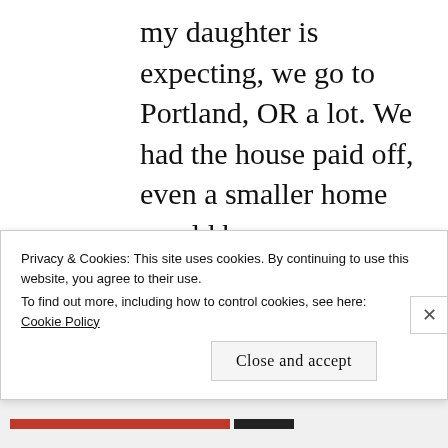my daughter is expecting, we go to Portland, OR a lot. We had the house paid off, even a smaller home would be more expensive than we want to pay. We'll sit tight for a while before we do anything such as moving. For my health, the weather in southern CA is just
Privacy & Cookies: This site uses cookies. By continuing to use this website, you agree to their use.
To find out more, including how to control cookies, see here:
Cookie Policy
Close and accept